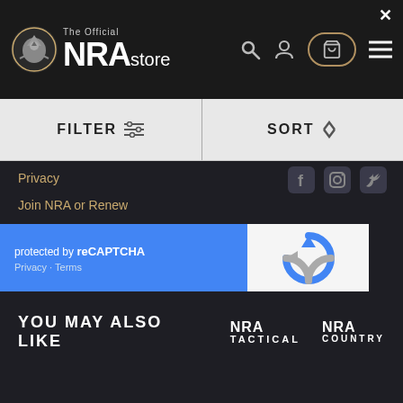[Figure (screenshot): NRA Store official website navigation bar with eagle logo, NRAstore branding, search/user/cart icons, and menu button]
FILTER
SORT
Privacy
Join NRA or Renew
protected by reCAPTCHA
Privacy · Terms
YOU MAY ALSO LIKE
NRA TACTICAL
NRA COUNTRY
Copyright 2021 National Rifle Association, 11250 Waples Mill Road, Fairfax, VA 22030